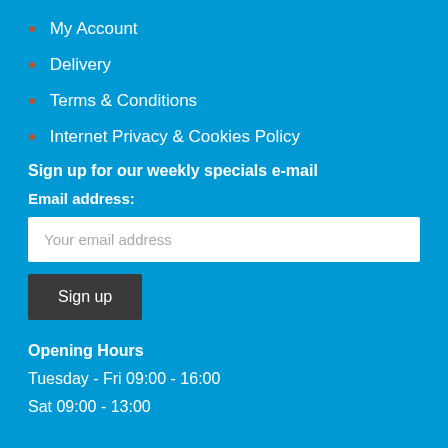My Account
Delivery
Terms & Conditions
Internet Privacy & Cookies Policy
Sign up for our weekly specials e-mail
Email address:
Your email address
Sign up
Opening Hours
Tuesday - Fri 09:00 - 16:00
Sat 09:00 - 13:00